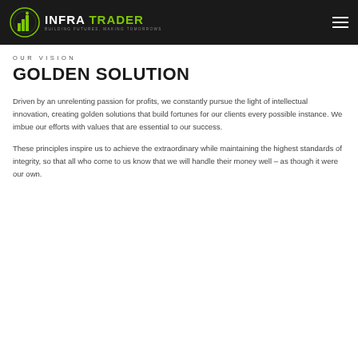INFRA TRADER — BUILDING FUTURES, MAKING TOMORROWS
OUR VISION
GOLDEN SOLUTION
Driven by an unrelenting passion for profits, we constantly pursue the light of intellectual innovation, creating golden solutions that build fortunes for our clients every possible instance. We imbue our efforts with values that are essential to our success.
These principles inspire us to achieve the extraordinary while maintaining the highest standards of integrity, so that all who come to us know that we will handle their money well – as though it were our own.